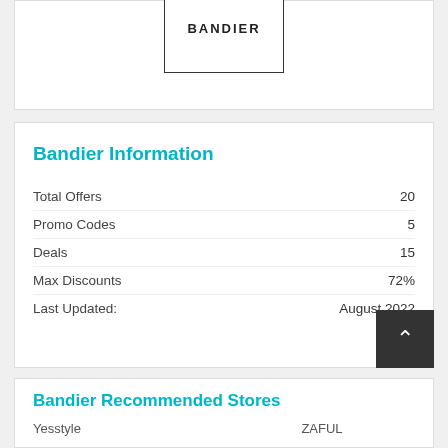[Figure (logo): Bandier brand logo: black text spelling BANDIER in a bordered box]
Bandier Information
|  |  |
| --- | --- |
| Total Offers | 20 |
| Promo Codes | 5 |
| Deals | 15 |
| Max Discounts | 72% |
| Last Updated: | August 2022 |
Bandier Recommended Stores
Yesstyle    ZAFUL